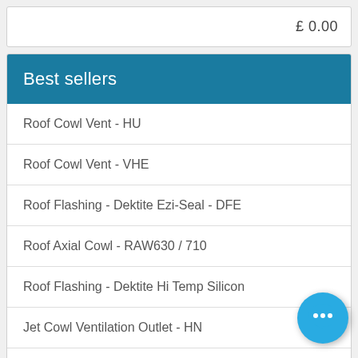£ 0.00
Best sellers
Roof Cowl Vent - HU
Roof Cowl Vent - VHE
Roof Flashing - Dektite Ezi-Seal - DFE
Roof Axial Cowl - RAW630 / 710
Roof Flashing - Dektite Hi Temp Silicon
Jet Cowl Ventilation Outlet - HN
UB41 Universal Tile Vent